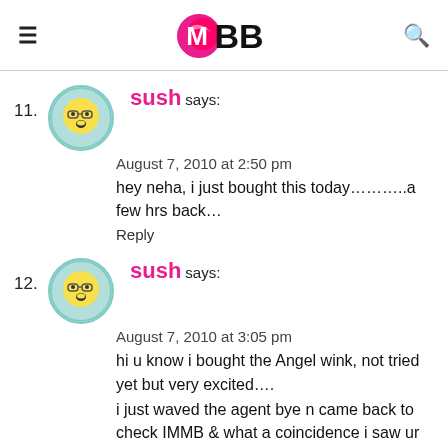IMBB (logo/navigation header)
11. sush says:
August 7, 2010 at 2:50 pm
hey neha, i just bought this today………..a few hrs back…
Reply
12. sush says:
August 7, 2010 at 3:05 pm
hi u know i bought the Angel wink, not tried yet but very excited….
i just waved the agent bye n came back to check IMMB & what a coincidence i saw ur review…
thank god!!!! i bought the 1st shade i hv to repent otherwise…:))